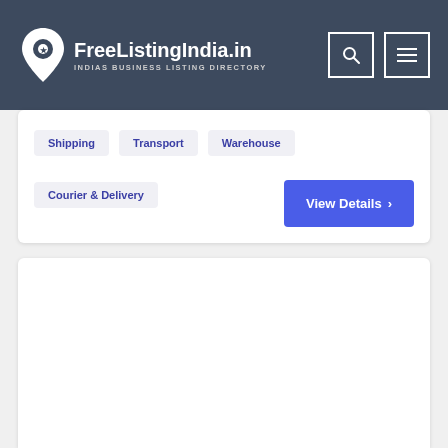FreeListingIndia.in — INDIAS BUSINESS LISTING DIRECTORY
Shipping
Transport
Warehouse
Courier & Delivery
View Details >
[Figure (other): Empty white card panel below the first listing card]